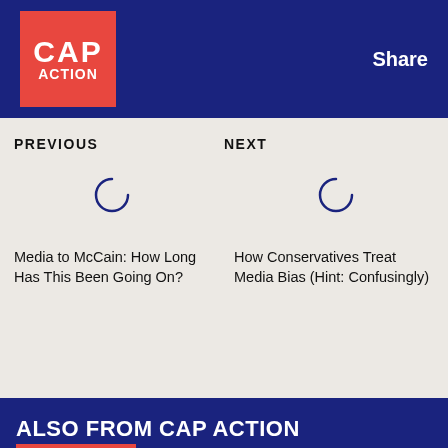CAP ACTION | Share
PREVIOUS
NEXT
Media to McCain: How Long Has This Been Going On?
How Conservatives Treat Media Bias (Hint: Confusingly)
ALSO FROM CAP ACTION